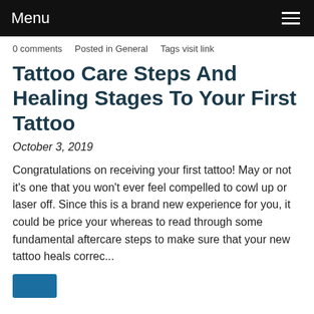Menu
0 comments   Posted in General   Tags visit link
Tattoo Care Steps And Healing Stages To Your First Tattoo
October 3, 2019
Congratulations on receiving your first tattoo! May or not it's one that you won't ever feel compelled to cowl up or laser off. Since this is a brand new experience for you, it could be price your whereas to read through some fundamental aftercare steps to make sure that your new tattoo heals correc...